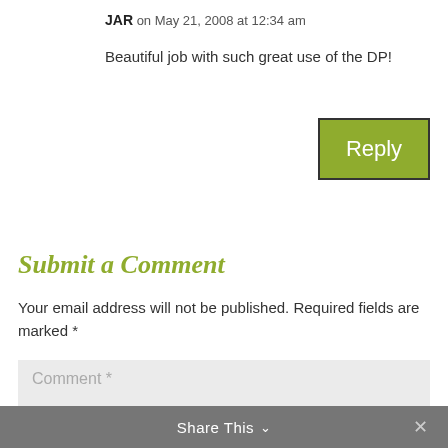JAR on May 21, 2008 at 12:34 am
Beautiful job with such great use of the DP!
Reply
Submit a Comment
Your email address will not be published. Required fields are marked *
Comment *
Share This ∨  ✕